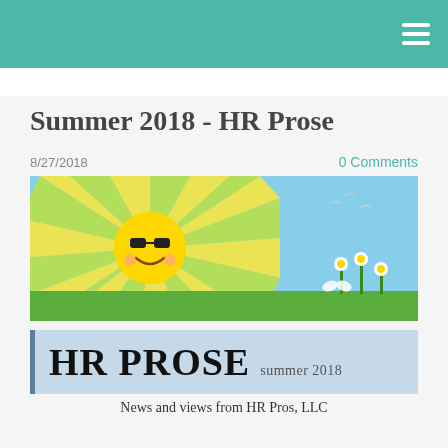Summer 2018 - HR Prose
8/27/2018
0 Comments
[Figure (illustration): Summer cartoon banner: smiling sun with sunglasses radiating yellow and lime-green rays against a blue sky, with green grass and flowers in the lower right corner]
[Figure (illustration): HR Prose newsletter banner: large bold text 'HR PROSE' with 'summer 2018' subtitle on a light blue background with a blue left border]
News and views from HR Pros, LLC